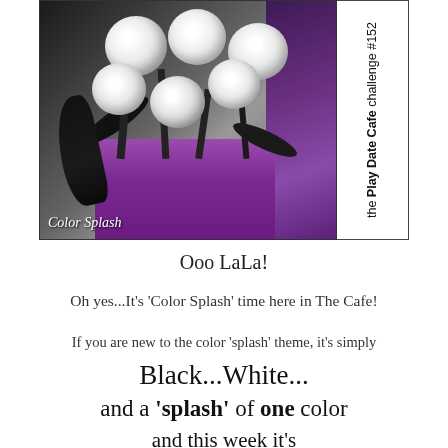[Figure (photo): Black and white photo of rose bouquet with purple/plum color splash. Shows white roses with dark calla lilies wrapped in purple fabric. Side panel reads 'the Play Date Cafe challenge #152' and bottom left reads 'Color Splash' in italic.]
Ooo LaLa!
Oh yes...It's 'Color Splash' time here in The Cafe!
If you are new to the color 'splash' theme, it's simply
Black...White...
and a 'splash' of one color
and this week it's
PLUM